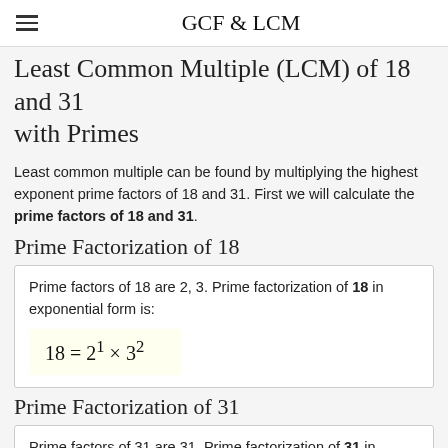GCF & LCM
Least Common Multiple (LCM) of 18 and 31 with Primes
Least common multiple can be found by multiplying the highest exponent prime factors of 18 and 31. First we will calculate the prime factors of 18 and 31.
Prime Factorization of 18
Prime factors of 18 are 2, 3. Prime factorization of 18 in exponential form is:
Prime Factorization of 31
Prime factors of 31 are 31. Prime factorization of 31 in